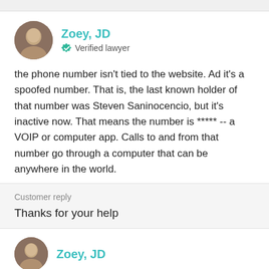Zoey, JD
Verified lawyer
the phone number isn't tied to the website. Ad it's a spoofed number. That is, the last known holder of that number was Steven Saninocencio, but it's inactive now. That means the number is ***** -- a VOIP or computer app. Calls to and from that number go through a computer that can be anywhere in the world.
Customer reply
Thanks for your help
Zoey, JD